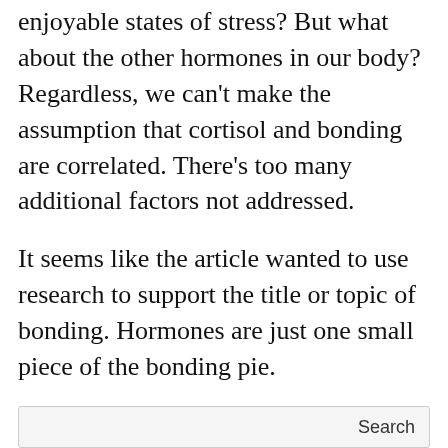enjoyable states of stress? But what about the other hormones in our body? Regardless, we can't make the assumption that cortisol and bonding are correlated. There's too many additional factors not addressed.
It seems like the article wanted to use research to support the title or topic of bonding. Hormones are just one small piece of the bonding pie.
(ringing sound) Bye all, I have to go. The phone's ringing and it might be Jessica…